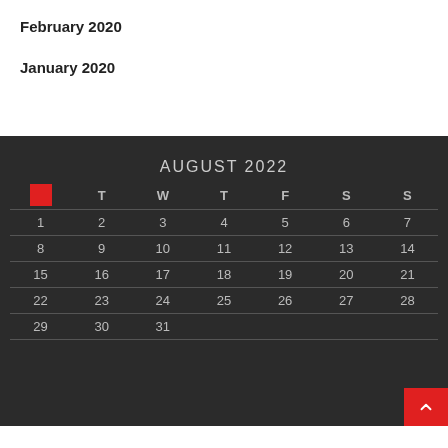February 2020
January 2020
[Figure (other): Small red square icon on dark background]
| M | T | W | T | F | S | S |
| --- | --- | --- | --- | --- | --- | --- |
| 1 | 2 | 3 | 4 | 5 | 6 | 7 |
| 8 | 9 | 10 | 11 | 12 | 13 | 14 |
| 15 | 16 | 17 | 18 | 19 | 20 | 21 |
| 22 | 23 | 24 | 25 | 26 | 27 | 28 |
| 29 | 30 | 31 |  |  |  |  |